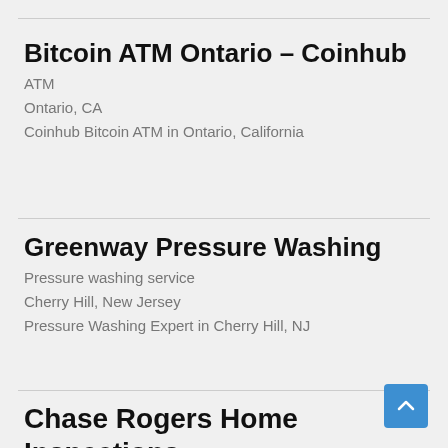Bitcoin ATM Ontario – Coinhub
ATM
Ontario, CA
Coinhub Bitcoin ATM in Ontario, California
Greenway Pressure Washing
Pressure washing service
Cherry Hill, New Jersey
Pressure Washing Expert in Cherry Hill, NJ
Chase Rogers Home Inspections